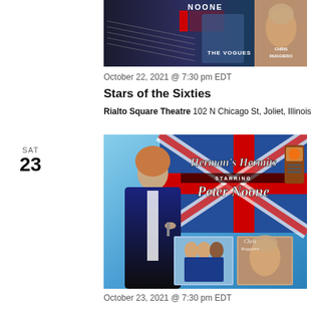[Figure (photo): Concert promotional image showing Herman's Hermits / Peter Noone, The Vogues, and Chris Ruggiero]
October 22, 2021 @ 7:30 pm EDT
Stars of the Sixties
Rialto Square Theatre 102 N Chicago St, Joliet, Illinois
SAT
23
[Figure (photo): Herman's Hermits Starring Peter Noone promotional concert image with supporting acts]
October 23, 2021 @ 7:30 pm EDT